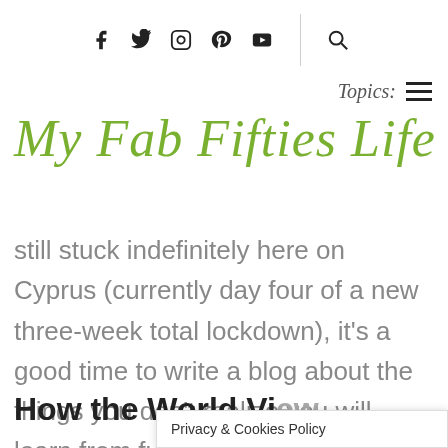Social icons: Facebook, Twitter, Instagram, Pinterest, YouTube, Search
Topics: ≡
My Fab Fifties Life
still stuck indefinitely here on Cyprus (currently day four of a new three-week total lockdown), it's a good time to write a blog about the things you don't realize you will learn from full time travel. The lessons keep coming but here are a few that stand out for me;
How the World View...
Privacy & Cookies Policy